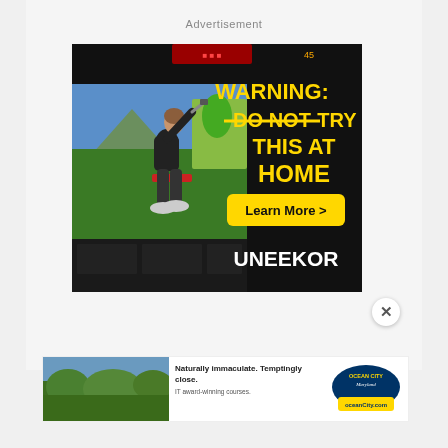Advertisement
[Figure (photo): UNEEKOR golf simulator advertisement. Dark background with a golfer mid-swing in front of a large screen showing a virtual golf course. Yellow bold text reads 'WARNING: DO NOT TRY THIS AT HOME' with 'DO NOT' struck through. A yellow 'Learn More >' button is shown. UNEEKOR logo in white at bottom right.]
[Figure (photo): Ocean City Maryland golf course advertisement banner. Left side shows a photo of a green golf course landscape. Text reads 'Naturally immaculate. Temptingly close. IT award-winning courses.' with Ocean City Maryland logo on right side.]